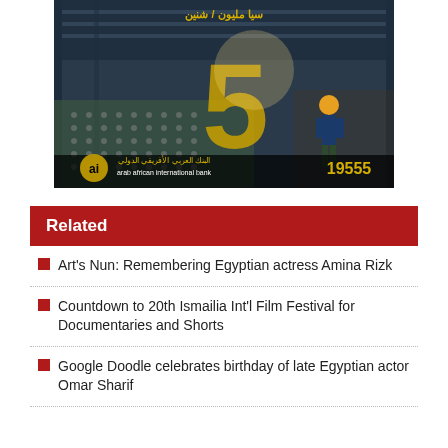[Figure (photo): Advertisement for Arab African International Bank featuring an industrial/manufacturing facility with a large number 5, Arabic text, the bank logo, and the phone number 19555]
Related
Art's Nun: Remembering Egyptian actress Amina Rizk
Countdown to 20th Ismailia Int'l Film Festival for Documentaries and Shorts
Google Doodle celebrates birthday of late Egyptian actor Omar Sharif